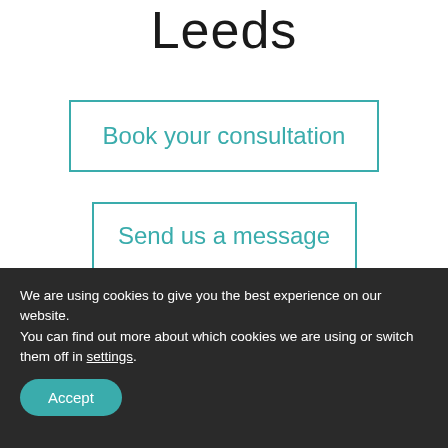Leeds
Book your consultation
Send us a message
We are using cookies to give you the best experience on our website.
You can find out more about which cookies we are using or switch them off in settings.
Accept